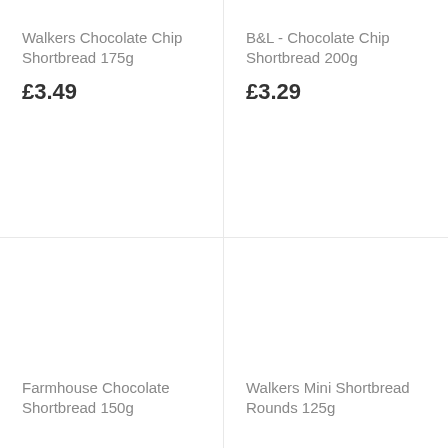Walkers Chocolate Chip Shortbread 175g
£3.49
B&L - Chocolate Chip Shortbread 200g
£3.29
Farmhouse Chocolate Shortbread 150g
Walkers Mini Shortbread Rounds 125g